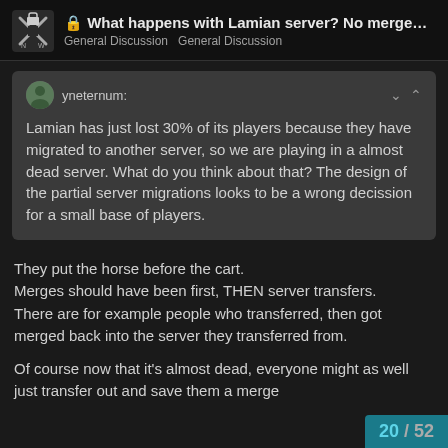What happens with Lamian server? No merge... General Discussion General Discussion
yneternum: Lamian has just lost 30% of its players because they have migrated to another server, so we are playing in a almost dead server. What do you think about that? The design of the partial server migrations looks to be a wrong decission for a small base of players.
They put the horse before the cart.
Merges should have been first, THEN server transfers.
There are for example people who transferred, then got merged back into the server they transferred from.
Of course now that it’s almost dead, everyone might as well just transfer out and save them a merge
20 / 52